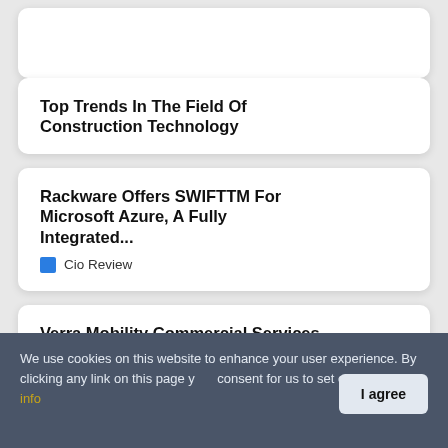Top Trends In The Field Of Construction Technology
Rackware Offers SWIFTTM For Microsoft Azure, A Fully Integrated...
Cio Review
Verra Mobility Commercial Services Promotes Fleet Mobility With New...
We use cookies on this website to enhance your user experience. By clicking any link on this page you are giving your consent for us to set cookies. More info